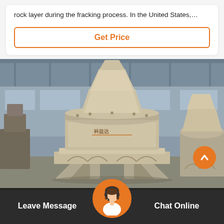rock layer during the fracking process. In the United States,…
Get Price
[Figure (photo): Industrial cone crusher machine photographed in a factory/warehouse setting. The machine is large, beige/tan colored, with a conical top and heavy-duty base frame with diagonal supports.]
Leave Message
Chat Online